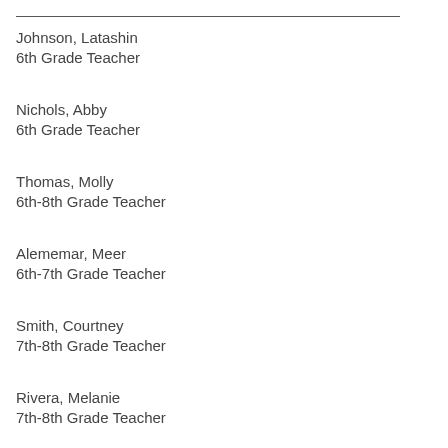Johnson, Latashin
6th Grade Teacher
Nichols, Abby
6th Grade Teacher
Thomas, Molly
6th-8th Grade Teacher
Alememar, Meer
6th-7th Grade Teacher
Smith, Courtney
7th-8th Grade Teacher
Rivera, Melanie
7th-8th Grade Teacher